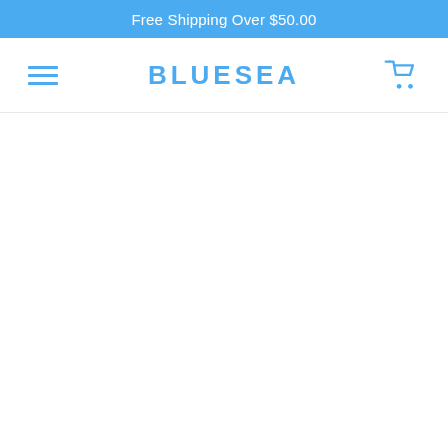Free Shipping Over $50.00
BLUESEA